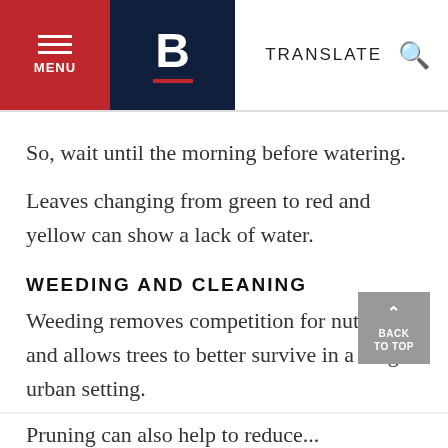MENU | B | TRANSLATE
So, wait until the morning before watering.
Leaves changing from green to red and yellow can show a lack of water.
WEEDING AND CLEANING
Weeding removes competition for nutrients and allows trees to better survive in a tough urban setting.
Pruning can...